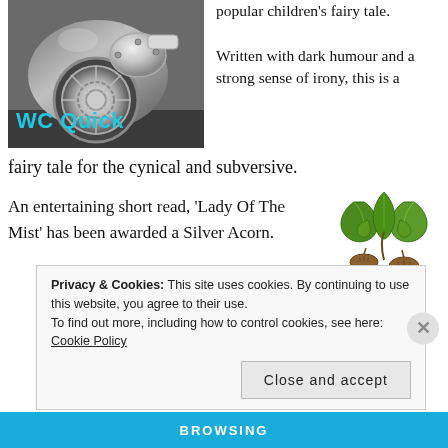[Figure (photo): Close-up photo of a motorcycle engine/wheel with 'WC Quick' text overlay in cyan]
popular children's fairy tale.
Written with dark humour and a strong sense of irony, this is a fairy tale for the cynical and subversive.
An entertaining short read, 'Lady Of The Mist' has been awarded a Silver Acorn.
[Figure (illustration): Silver Acorn award illustration: oak leaves and acorns]
Privacy & Cookies: This site uses cookies. By continuing to use this website, you agree to their use.
To find out more, including how to control cookies, see here: Cookie Policy
Close and accept
BROWSING